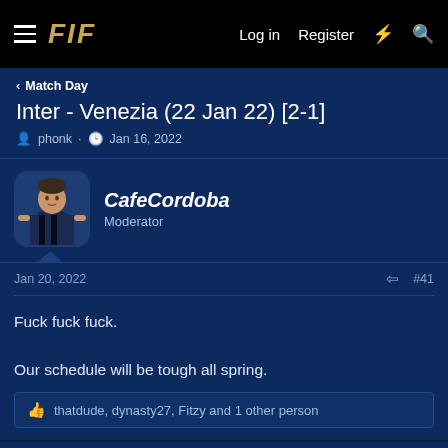FIF  Log in  Register
< Match Day
Inter - Venezia (22 Jan 22) [2-1]
phonk · Jan 16, 2022
CafeCordoba
Moderator
Jan 20, 2022  #41
Fuck fuck fuck.

Our schedule will be tough all spring.
thatdude, dynasty27, Fitzy and 1 other person
Glass box